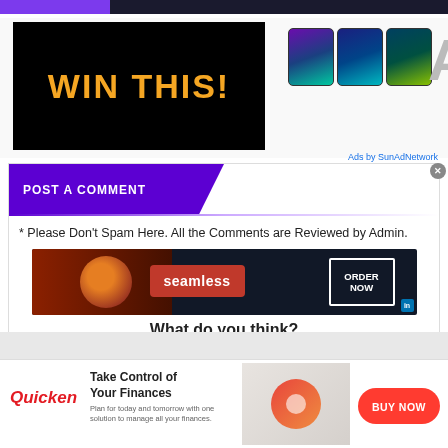[Figure (screenshot): Top navigation bar with purple and dark sections]
[Figure (infographic): Black banner ad with 'WIN THIS!' in orange text, and three tablet images beside it]
Ads by SunAdNetwork
POST A COMMENT
* Please Don't Spam Here. All the Comments are Reviewed by Admin.
[Figure (screenshot): Seamless food ordering advertisement with pizza image, seamless logo, and ORDER NOW button]
What do you think?
0 Responses
[Figure (infographic): Quicken finance app bottom advertisement with 'Take Control of Your Finances' headline, woman image, and BUY NOW button]